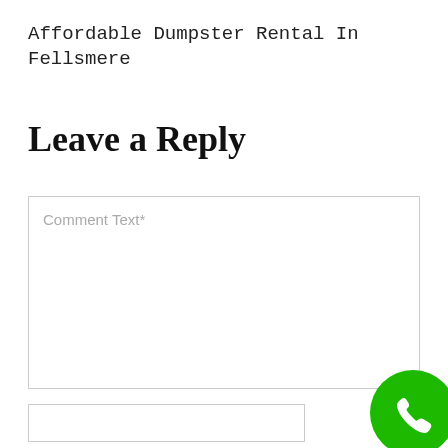Affordable Dumpster Rental In Fellsmere
Leave a Reply
Comment Text*
Name*